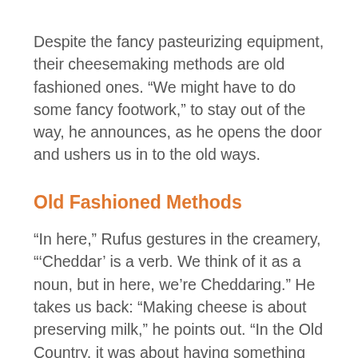Despite the fancy pasteurizing equipment, their cheesemaking methods are old fashioned ones. “We might have to do some fancy footwork,” to stay out of the way, he announces, as he opens the door and ushers us in to the old ways.
Old Fashioned Methods
“In here,” Rufus gestures in the creamery, “‘Cheddar’ is a verb. We think of it as a noun, but in here, we’re Cheddaring.” He takes us back: “Making cheese is about preserving milk,” he points out. “In the Old Country, it was about having something for the wintertime to eat, since the milk wouldn’t last.”